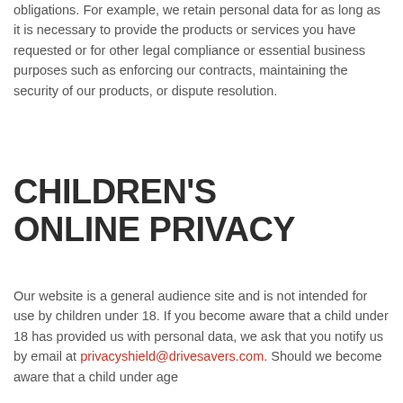obligations. For example, we retain personal data for as long as it is necessary to provide the products or services you have requested or for other legal compliance or essential business purposes such as enforcing our contracts, maintaining the security of our products, or dispute resolution.
CHILDREN'S ONLINE PRIVACY
Our website is a general audience site and is not intended for use by children under 18. If you become aware that a child under 18 has provided us with personal data, we ask that you notify us by email at privacyshield@drivesavers.com. Should we become aware that a child under age